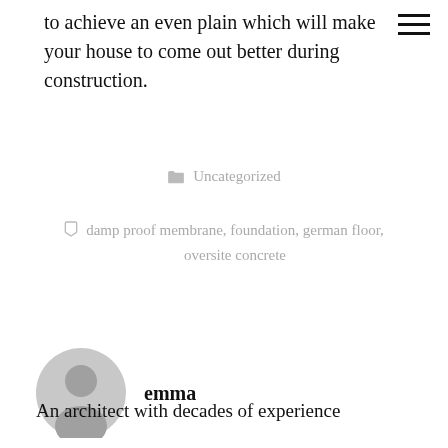to achieve an even plain which will make your house to come out better during construction.
Uncategorized
damp proof membrane, foundation, german floor, oversite concrete
emma
An architect with decades of experience